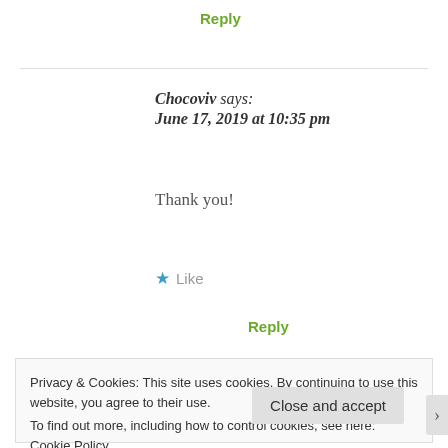Reply
Chocoviv says:
June 17, 2019 at 10:35 pm
Thank you!
★ Like
Reply
Privacy & Cookies: This site uses cookies. By continuing to use this website, you agree to their use.
To find out more, including how to control cookies, see here: Cookie Policy
Close and accept